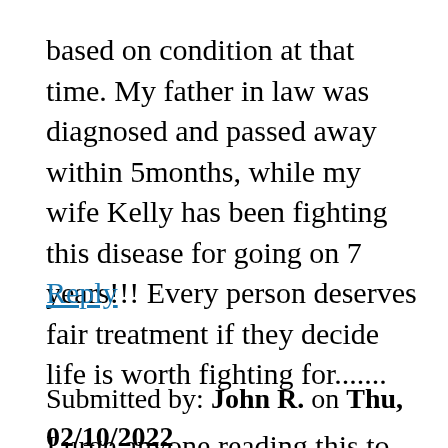based on condition at that time. My father in law was diagnosed and passed away within 5months, while my wife Kelly has been fighting this disease for going on 7 years!!! Every person deserves fair treatment if they decide life is worth fighting for.......
Reply
Submitted by: John R. on Thu, 02/10/2022
I urge anyone reading this to please hit the link at the end of the blog post above, and fill out the ICER questionnaire. The people at ICER need to understand that ALS is a disease that